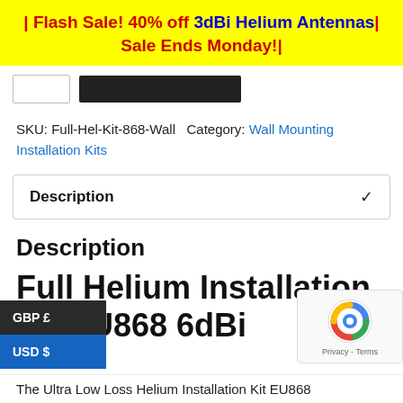| Flash Sale! 40% off 3dBi Helium Antennas| Sale Ends Monday!|
[Figure (screenshot): UI controls: quantity input box and dark add-to-cart button]
SKU: Full-Hel-Kit-868-Wall Category: Wall Mounting Installation Kits
Description
Description
Full Helium Installation Kit EU868 6dBi
The Ultra Low Loss Helium Installation Kit EU868